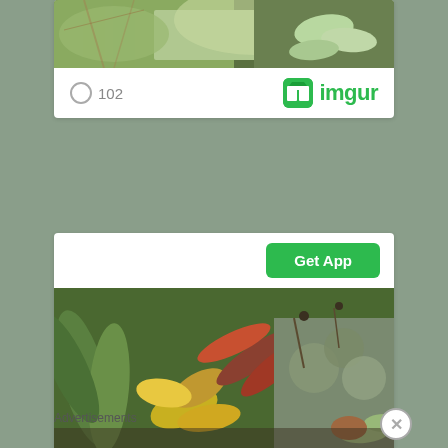[Figure (photo): Crop of a succulent plant photo showing green fleshy leaves against brown dry foliage background]
102
[Figure (logo): imgur logo with green icon and green text]
[Figure (screenshot): Get App button in green, part of imgur mobile app promotion card]
[Figure (photo): Photo of succulent and dry shrub plants on ground with various green and reddish foliage]
Advertisements